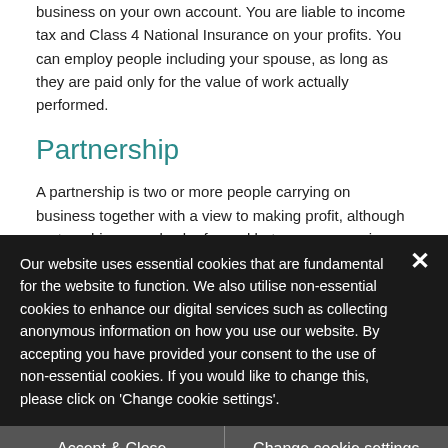business on your own account. You are liable to income tax and Class 4 National Insurance on your profits. You can employ people including your spouse, as long as they are paid only for the value of work actually performed.
Partnership
A partnership is two or more people carrying on business together with a view to making profit, although partnerships can also be formed between companies, or between and individual and a company.
Our website uses essential cookies that are fundamental for the website to function. We also utilise non-essential cookies to enhance our digital services such as collecting anonymous information on how you use our website. By accepting you have provided your consent to the use of non-essential cookies. If you would like to change this, please click on 'Change cookie settings'.
Accept & Close
Change cookie settings